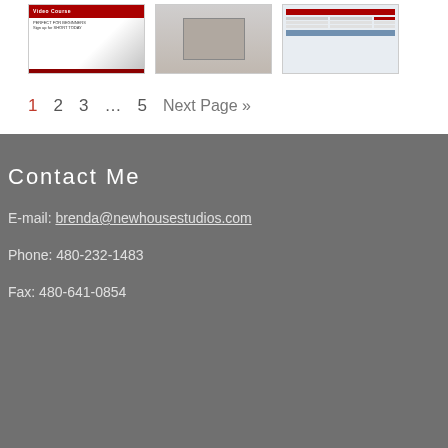[Figure (screenshot): Three thumbnail images showing course/website previews: first has red header 'Video Course', second shows a room/interior scene, third shows a table/spreadsheet layout]
1  2  3  …  5  Next Page »
Contact Me
E-mail: brenda@newhousestudios.com
Phone: 480-232-1483
Fax: 480-641-0854